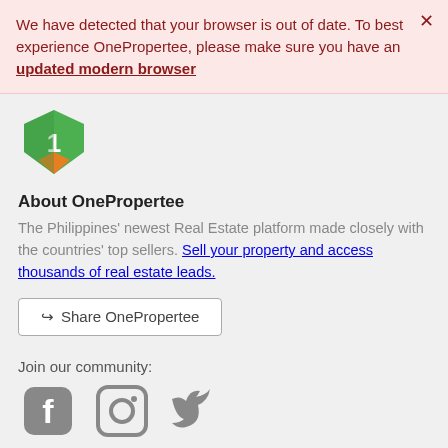We have detected that your browser is out of date. To best experience OnePropertee, please make sure you have an updated modern browser
[Figure (logo): OnePropertee logo - a green and orange shield/tag shape with the number 1]
About OnePropertee
The Philippines' newest Real Estate platform made closely with the countries' top sellers. Sell your property and access thousands of real estate leads.
Share OnePropertee
Join our community:
[Figure (illustration): Social media icons: Facebook, Instagram, Twitter]
OnePropertee
Log in / Register